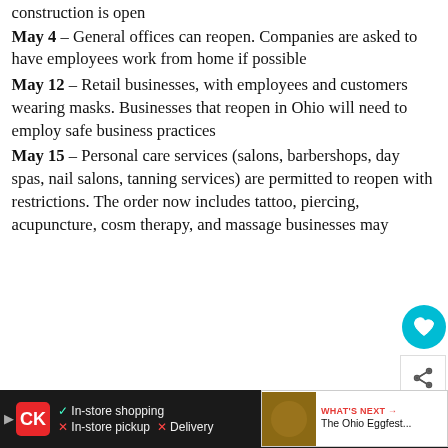construction is open
May 4 – General offices can reopen. Companies are asked to have employees work from home if possible
May 12 – Retail businesses, with employees and customers wearing masks. Businesses that reopen in Ohio will need to employ safe business practices
May 15 – Personal care services (salons, barbershops, day spas, nail salons, tanning services) are permitted to reopen with restrictions. The order now includes tattoo, piercing, acupuncture, cosm… therapy, and massage businesses may